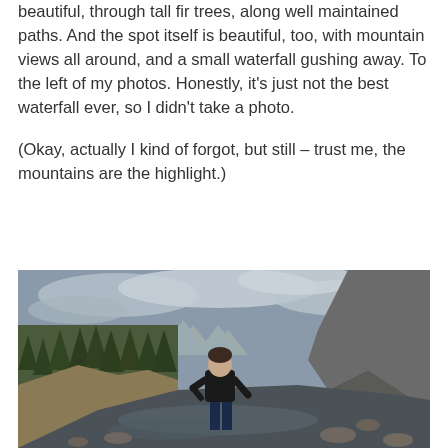beautiful, through tall fir trees, along well maintained paths. And the spot itself is beautiful, too, with mountain views all around, and a small waterfall gushing away. To the left of my photos. Honestly, it's just not the best waterfall ever, so I didn't take a photo.
(Okay, actually I kind of forgot, but still – trust me, the mountains are the highlight.)
[Figure (photo): A person standing by a rocky river with tall fir trees on the left, mountains with snow caps in the background, and a rocky cliff on the right. Overcast sky. Canadian Rockies landscape, likely Banff area.]